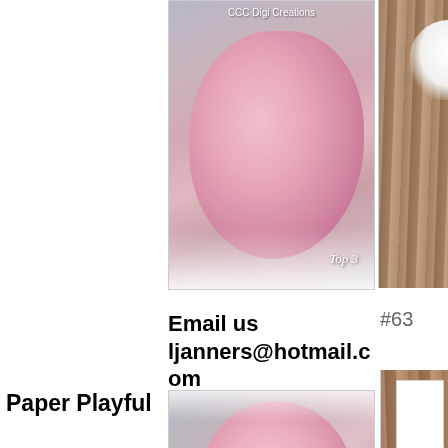[Figure (photo): Pink rose covered in snow/glitter with 'Top 3' text overlay and 'CCC Digi Creations' brand text at top]
[Figure (photo): Partial photo on right side showing wood grain background with a ghost/cat sticker illustration]
Email us ljanners@hotmail.com
#6...
[Figure (photo): Close-up pink rose with snow/sparkles and 'Contact Us' text overlay]
[Figure (photo): Partial photo on right showing wood background with a card featuring a gnome/elf illustration]
Paper Playful
Congratulations!
[Figure (photo): Partial photo at bottom left showing green leaves/foliage]